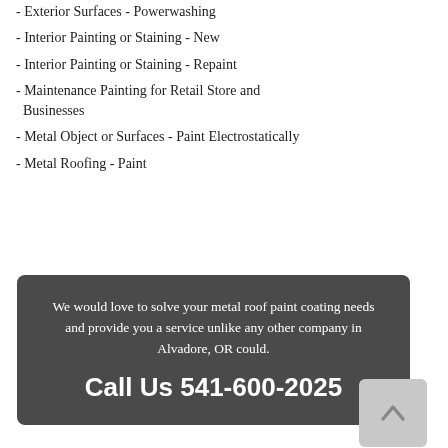- Exterior Surfaces - Powerwashing
- Interior Painting or Staining - New
- Interior Painting or Staining - Repaint
- Maintenance Painting for Retail Store and Businesses
- Metal Object or Surfaces - Paint Electrostatically
- Metal Roofing - Paint
We would love to solve your metal roof paint coating needs and provide you a service unlike any other company in Alvadore, OR could.
Call Us 541-600-2025